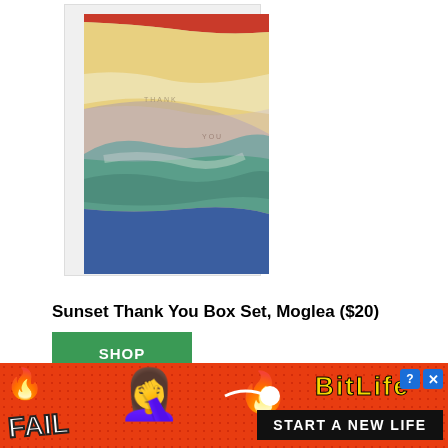[Figure (photo): A greeting card with colorful painted sunset swirls — red, yellow, white, teal, and blue — on a beige/tan background. The word THANK appears near the top and YOU appears on the right side. The card is shown slightly overlapping a white card backing.]
Sunset Thank You Box Set, Moglea ($20)
SHOP
[Figure (illustration): Advertisement banner for BitLife app. Red dotted background with fire emoji on left, FAIL text in white with dark outline, animated blonde woman emoji covering face with hands, flame emoji in center, sperm icon, BitLife logo in yellow, help and close buttons, and black bar reading START A NEW LIFE.]